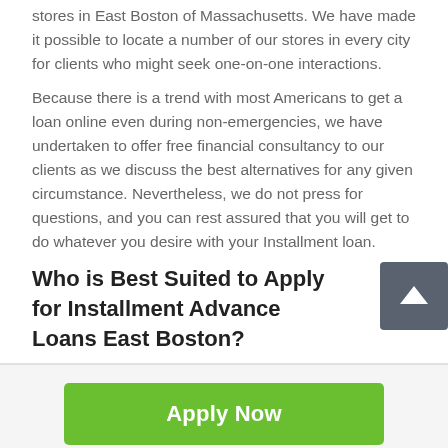stores in East Boston of Massachusetts. We have made it possible to locate a number of our stores in every city for clients who might seek one-on-one interactions.
Because there is a trend with most Americans to get a loan online even during non-emergencies, we have undertaken to offer free financial consultancy to our clients as we discuss the best alternatives for any given circumstance. Nevertheless, we do not press for questions, and you can rest assured that you will get to do whatever you desire with your Installment loan.
Who is Best Suited to Apply for Installment Advance Loans East Boston?
[Figure (other): Green 'Apply Now' button]
Applying does NOT affect your credit score!
No credit check to apply.